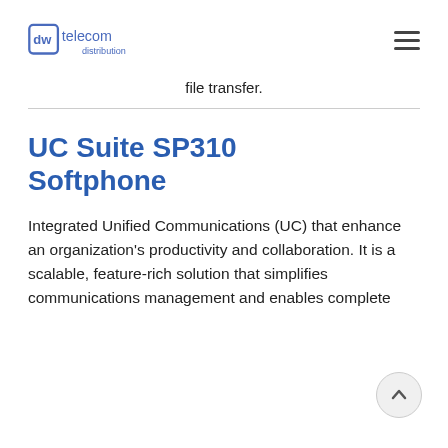dw telecom distribution (logo) + hamburger menu
file transfer.
UC Suite SP310 Softphone
Integrated Unified Communications (UC) that enhance an organization's productivity and collaboration. It is a scalable, feature-rich solution that simplifies communications management and enables complete